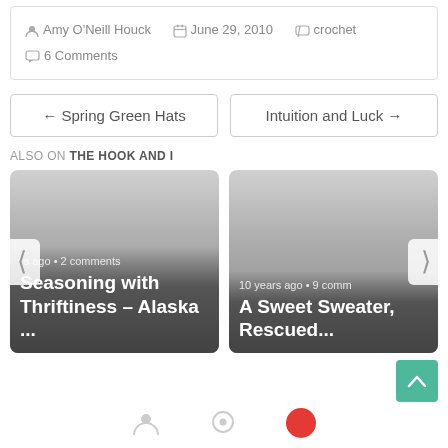Amy O'Neill Houck  June 29, 2010  crochet  6 Comments
← Spring Green Hats
Intuition and Luck →
ALSO ON THE HOOK AND I
[Figure (screenshot): Card showing article: 'Seasoning with Thriftiness – Alaska ...' with meta 'rs ago • 2 comments']
[Figure (screenshot): Card showing article: 'A Sweet Sweater, Rescued...' with meta '10 years ago • 9 comm']